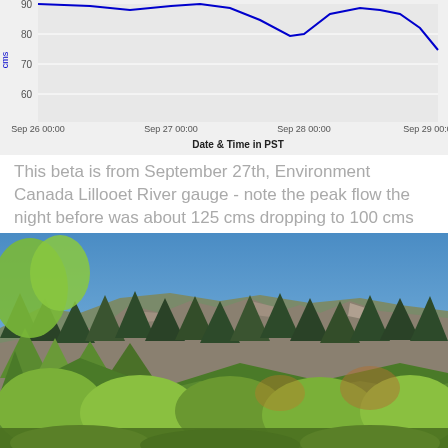[Figure (continuous-plot): Partial line chart showing river flow data (cms) over time from Sep 26 00:00 to Sep 29 00:00 in PST. Y-axis shows values 60, 70, 80, 90. A blue line shows flow peaking around Sep 27 then dipping around Sep 28 and rising again. X-axis label: Date & Time in PST.]
This beta is from September 27th, Environment Canada Lillooet River gauge - note the peak flow the night before was about 125 cms dropping to 100 cms the next night..
[Figure (photo): Outdoor photograph of a forested mountain landscape with rocky outcrops, coniferous and deciduous trees in autumn colours, and a clear blue sky.]